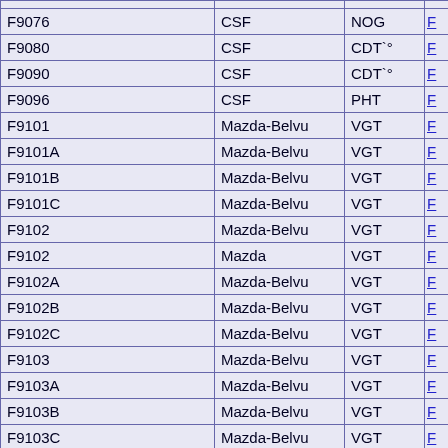|  |  |  |  |
| --- | --- | --- | --- |
| F9076 | CSF | NOG | F |
| F9080 | CSF | CDT`° | F |
| F9090 | CSF | CDT`° | F |
| F9096 | CSF | PHT | F |
| F9101 | Mazda-Belvu | VGT | F |
| F9101A | Mazda-Belvu | VGT | F |
| F9101B | Mazda-Belvu | VGT | F |
| F9101C | Mazda-Belvu | VGT | F |
| F9102 | Mazda-Belvu | VGT | F |
| F9102 | Mazda | VGT | F |
| F9102A | Mazda-Belvu | VGT | F |
| F9102B | Mazda-Belvu | VGT | F |
| F9102C | Mazda-Belvu | VGT | F |
| F9103 | Mazda-Belvu | VGT | F |
| F9103A | Mazda-Belvu | VGT | F |
| F9103B | Mazda-Belvu | VGT | F |
| F9103C | Mazda-Belvu | VGT | F |